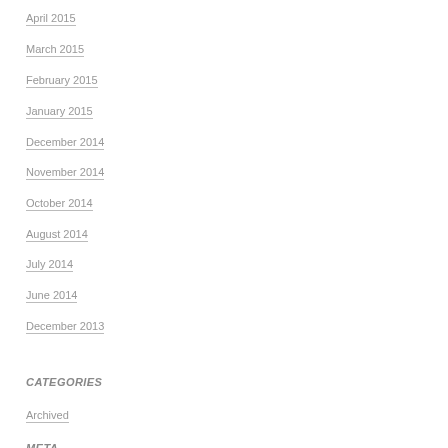April 2015
March 2015
February 2015
January 2015
December 2014
November 2014
October 2014
August 2014
July 2014
June 2014
December 2013
CATEGORIES
Archived
META